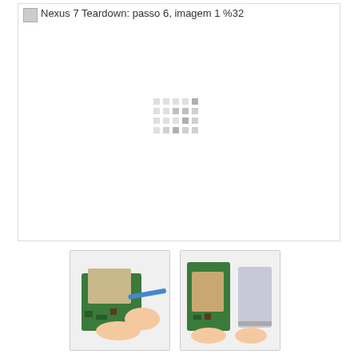[Figure (screenshot): Broken/loading main image placeholder for 'Nexus 7 Teardown: passo 6, imagem 1 %32' with a loading spinner icon in the center]
[Figure (photo): Thumbnail photo showing hands using a spudger/prying tool to separate the battery from a Nexus 7 tablet PCB]
[Figure (photo): Thumbnail photo showing hands holding a Nexus 7 tablet with the battery removed, displaying the PCB and battery side by side]